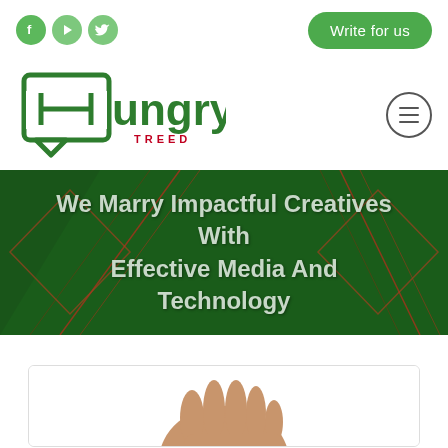[Figure (screenshot): Social media icons: Facebook (f), YouTube (play), Twitter (bird) in green circles]
[Figure (other): Write for us button - green rounded rectangle]
[Figure (logo): Hungry Treed logo - green speech bubble H icon with 'Hungry' in green/red and 'TREED' in small caps]
[Figure (other): Hamburger menu button - circle with three horizontal lines]
[Figure (illustration): Hero banner with dark green background and geometric red/copper diamond decorative lines. Text: We Marry Impactful Creatives With Effective Media And Technology]
We Marry Impactful Creatives With Effective Media And Technology
[Figure (photo): Partial photo inside a card/box showing a human hand from above, light skin tone, on white background]